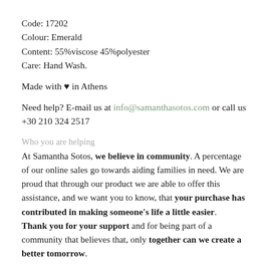Code: 17202
Colour: Emerald
Content: 55%viscose 45%polyester
Care: Hand Wash.
Made with ♥ in Athens
Need help? E-mail us at info@samanthasotos.com or call us +30 210 324 2517
Who you are helping
At Samantha Sotos, we believe in community. A percentage of our online sales go towards aiding families in need. We are proud that through our product we are able to offer this assistance, and we want you to know, that your purchase has contributed in making someone's life a little easier. Thank you for your support and for being part of a community that believes that, only together can we create a better tomorrow.